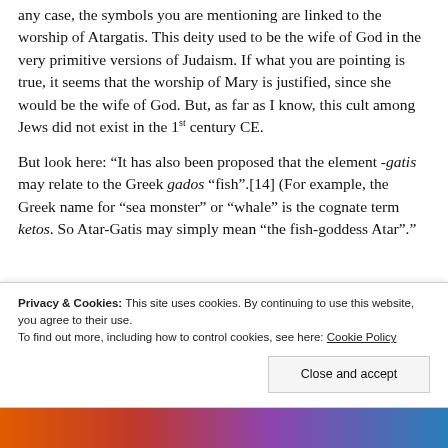any case, the symbols you are mentioning are linked to the worship of Atargatis. This deity used to be the wife of God in the very primitive versions of Judaism. If what you are pointing is true, it seems that the worship of Mary is justified, since she would be the wife of God. But, as far as I know, this cult among Jews did not exist in the 1st century CE.
But look here: “It has also been proposed that the element -gatis may relate to the Greek gados “fish”.[14] (For example, the Greek name for “sea monster” or “whale” is the cognate term ketos. So Atar-Gatis may simply mean “the fish-goddess Atar”.”
Privacy & Cookies: This site uses cookies. By continuing to use this website, you agree to their use. To find out more, including how to control cookies, see here: Cookie Policy